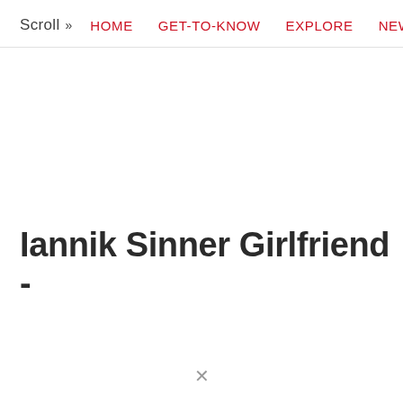Scroll >> HOME  GET-TO-KNOW  EXPLORE  NEWS
Iannik Sinner Girlfriend -